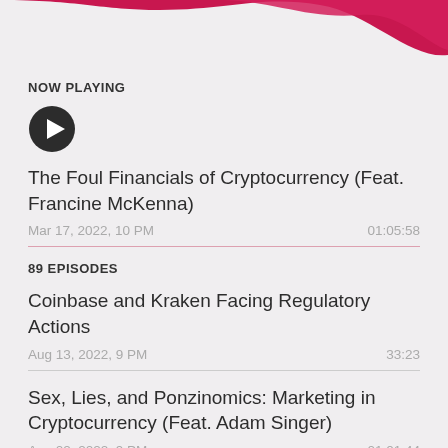[Figure (illustration): Decorative pink/magenta wave curves at top of screen, podcast app header decoration]
NOW PLAYING
[Figure (illustration): Dark circular play button icon]
The Foul Financials of Cryptocurrency (Feat. Francine McKenna)
Mar 17, 2022, 10 PM	01:05:58
89 EPISODES
Coinbase and Kraken Facing Regulatory Actions
Aug 13, 2022, 9 PM	33:23
Sex, Lies, and Ponzinomics: Marketing in Cryptocurrency (Feat. Adam Singer)
Aug 02, 2022, 9 PM	01:01:44